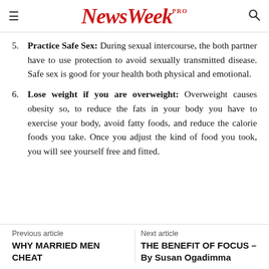NewsWeek PRO
5. Practice Safe Sex: During sexual intercourse, the both partner have to use protection to avoid sexually transmitted disease. Safe sex is good for your health both physical and emotional.
6. Lose weight if you are overweight: Overweight causes obesity so, to reduce the fats in your body you have to exercise your body, avoid fatty foods, and reduce the calorie foods you take. Once you adjust the kind of food you took, you will see yourself free and fitted.
Previous article WHY MARRIED MEN CHEAT | Next article THE BENEFIT OF FOCUS – By Susan Ogadimma